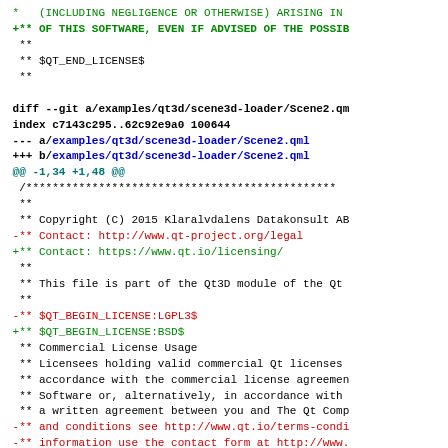diff --git code patch showing changes to Scene2.qml in qt3d/scene3d-loader, including license header update from LGPL3 to BSD and contact URL changes from qt-project.org to qt.io